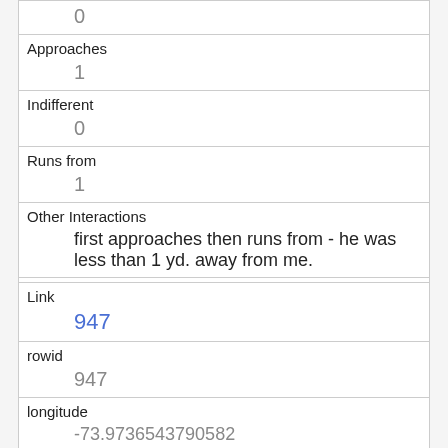| Approaches | 1 |
| Indifferent | 0 |
| Runs from | 1 |
| Other Interactions | first approaches then runs from - he was less than 1 yd. away from me. |
| Lat/Long | POINT (-73.9744960829844 40.7652585501959) |
| Link | 947 |
| rowid | 947 |
| longitude | -73.9736543790582 |
| latitude | 40.76514441884321 |